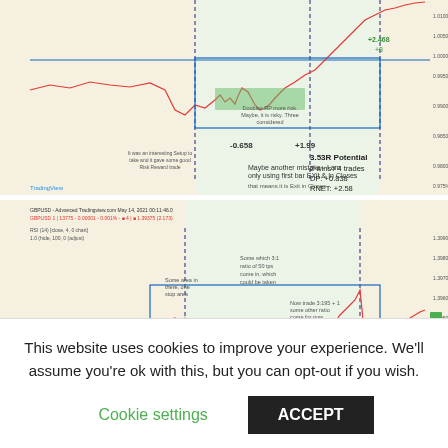[Figure (continuous-plot): Financial trading chart 1: price action line chart with green shaded region, blue horizontal line, dashed vertical lines, annotations showing -0.658, +1.99, 3.53R Potential, 2 wins / 4 trades, DP: +0.838, RNET: +2.58, TradingView watermark]
[Figure (continuous-plot): Financial trading chart 2: price action line chart with green shaded region, blue rectangle, dashed vertical lines, annotations showing Potential: +2.5R, 1 win / 1 trade, RTRR: +2.58, There were other possibilities, but to low]
This website uses cookies to improve your experience. We'll assume you're ok with this, but you can opt-out if you wish.
Cookie settings   ACCEPT